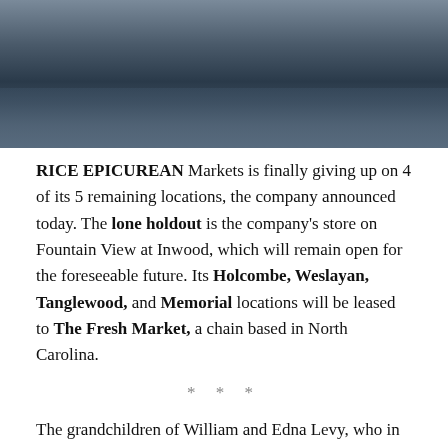[Figure (photo): Street-level photo of a flooded or rain-wet urban area, likely a commercial district, showing reflections on wet pavement with buildings in the background.]
RICE EPICUREAN Markets is finally giving up on 4 of its 5 remaining locations, the company announced today. The lone holdout is the company’s store on Fountain View at Inwood, which will remain open for the foreseeable future. Its Holcombe, Weslayan, Tanglewood, and Memorial locations will be leased to The Fresh Market, a chain based in North Carolina.
* * *
The grandchildren of William and Edna Levy, who in 1937 opened the first Rice Blvd. Food Market at 2501 Rice Blvd. in a then-empty Rice Village, indicate in a statement that they intend to follow a path paved by the successor owners of another local grocery chain, Weingarten’s: “Throughout our history our business has naturally expanded into real estate, primarily in neighborhood shopping centers with our own stores and other quality retailers.”